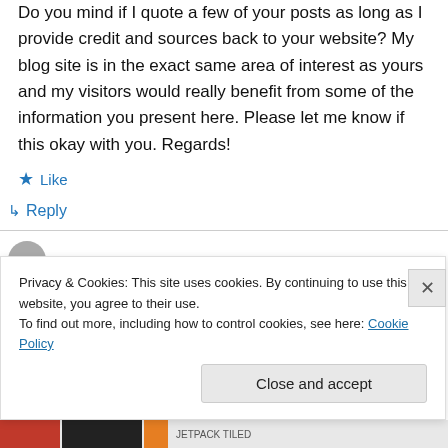Do you mind if I quote a few of your posts as long as I provide credit and sources back to your website? My blog site is in the exact same area of interest as yours and my visitors would really benefit from some of the information you present here. Please let me know if this okay with you. Regards!
★ Like
↳ Reply
Privacy & Cookies: This site uses cookies. By continuing to use this website, you agree to their use.
To find out more, including how to control cookies, see here: Cookie Policy
Close and accept